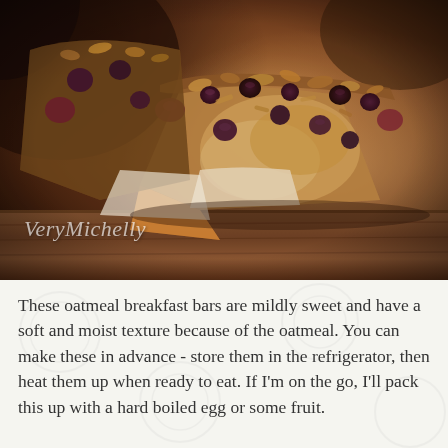[Figure (photo): Close-up photo of oatmeal breakfast bars with blueberries and a crumble topping, placed on a wooden surface. The bars have a golden-brown baked top with visible oats and dark berries. A watermark reading 'VeryMichelly' appears in the lower-left of the image.]
These oatmeal breakfast bars are mildly sweet and have a soft and moist texture because of the oatmeal. You can make these in advance - store them in the refrigerator, then heat them up when ready to eat. If I'm on the go, I'll pack this up with a hard boiled egg or some fruit.